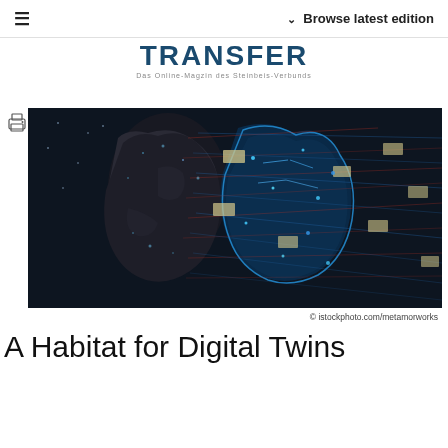≡   ∨ Browse latest edition
TRANSFER
Das Online-Magzin des Steinbeis-Verbunds
[Figure (photo): Digital twins concept image: two human face profiles facing each other — one dark/physical, one bright blue digital/AI — with glowing network lines and data nodes connecting them, suggesting human and digital twin duality]
© istockphoto.com/metamorworks
A Habitat for Digital Twins